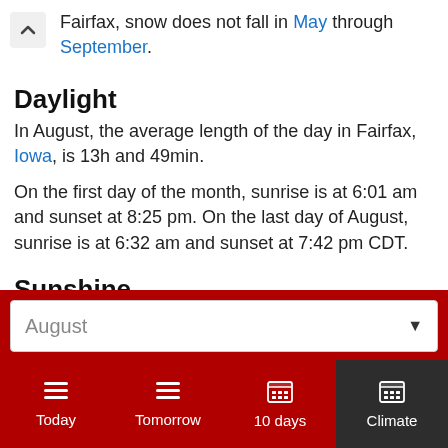Fairfax, snow does not fall in May through September.
Daylight
In August, the average length of the day in Fairfax, Iowa, is 13h and 49min.
On the first day of the month, sunrise is at 6:01 am and sunset at 8:25 pm. On the last day of August, sunrise is at 6:32 am and sunset at 7:42 pm CDT.
Sunshine
August
Today  Tomorrow  10 days  Climate